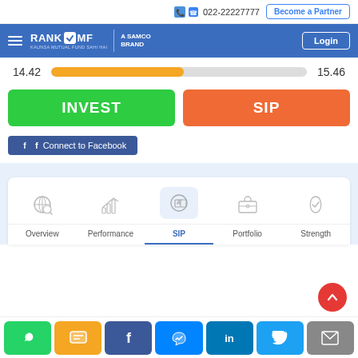022-22227777 | Become a Partner
[Figure (logo): RankMF - A Samco Brand logo with hamburger menu and Login button]
14.42   15.46
INVEST
SIP
Connect to Facebook
[Figure (screenshot): Navigation tabs: Overview, Performance, SIP (active), Portfolio, Strength with icons]
WhatsApp, SMS, Facebook, Messenger, LinkedIn, Twitter, Email social share buttons